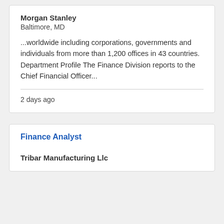Morgan Stanley
Baltimore, MD
...worldwide including corporations, governments and individuals from more than 1,200 offices in 43 countries. Department Profile The Finance Division reports to the Chief Financial Officer...
2 days ago
Finance Analyst
Tribar Manufacturing Llc